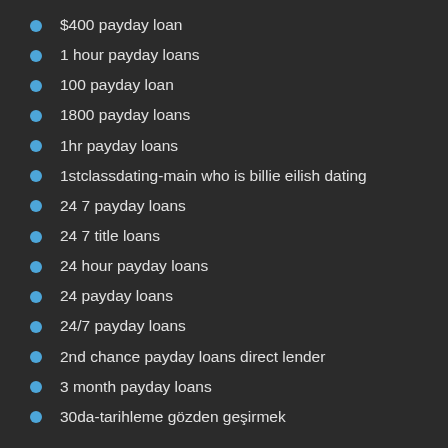$400 payday loan
1 hour payday loans
100 payday loan
1800 payday loans
1hr payday loans
1stclassdating-main who is billie eilish dating
24 7 payday loans
24 7 title loans
24 hour payday loans
24 payday loans
24/7 payday loans
2nd chance payday loans direct lender
3 month payday loans
30da-tarihleme gözden geçirmek
304 date reviews